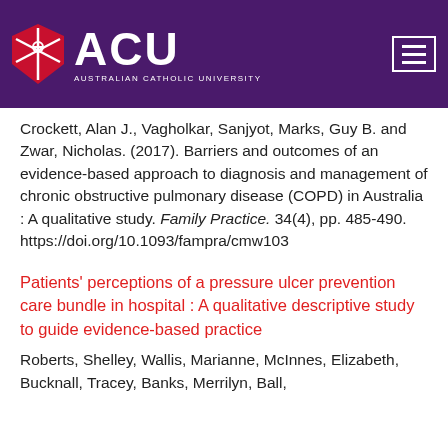ACU Australian Catholic University
Crockett, Alan J., Vagholkar, Sanjyot, Marks, Guy B. and Zwar, Nicholas. (2017). Barriers and outcomes of an evidence-based approach to diagnosis and management of chronic obstructive pulmonary disease (COPD) in Australia : A qualitative study. Family Practice. 34(4), pp. 485-490. https://doi.org/10.1093/fampra/cmw103
Patients' perceptions of a pressure ulcer prevention care bundle in hospital : A qualitative descriptive study to guide evidence-based practice
Roberts, Shelley, Wallis, Marianne, McInnes, Elizabeth, Bucknall, Tracey, Banks, Merrilyn, Ball, Jane and Clarke, Wendy. (2017). Patients'